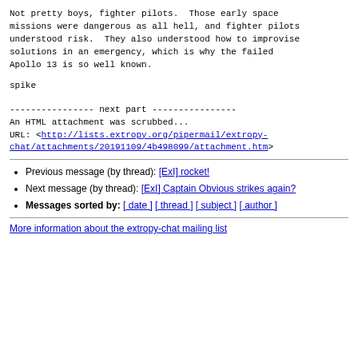Not pretty boys, fighter pilots.  Those early space missions were dangerous as all hell, and fighter pilots understood risk.  They also understood how to improvise solutions in an emergency, which is why the failed Apollo 13 is so well known.
spike
---------------- next part ---------------
An HTML attachment was scrubbed...
URL: <http://lists.extropy.org/pipermail/extropy-chat/attachments/20191109/4b498099/attachment.htm>
Previous message (by thread): [ExI] rocket!
Next message (by thread): [ExI] Captain Obvious strikes again?
Messages sorted by: [ date ] [ thread ] [ subject ] [ author ]
More information about the extropy-chat mailing list